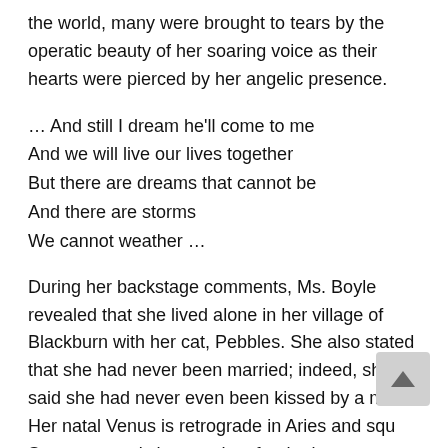the world, many were brought to tears by the operatic beauty of her soaring voice as their hearts were pierced by her angelic presence.
… And still I dream he'll come to me
And we will live our lives together
But there are dreams that cannot be
And there are storms
We cannot weather …
During her backstage comments, Ms. Boyle revealed that she lived alone in her village of Blackburn with her cat, Pebbles. She also stated that she had never been married; indeed, she said she had never even been kissed by a man. Her natal Venus is retrograde in Aries and squ Saturn — one's heart aches for the barren existence has had to endure. It was also revealed that she is the